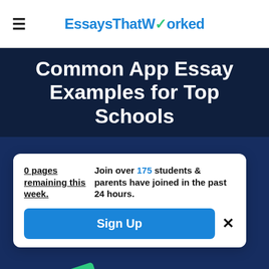EssaysThatWorked
Common App Essay Examples for Top Schools
0 pages remaining this week. Join over 175 students & parents have joined in the past 24 hours.
Sign Up
[Figure (screenshot): Partial green stamp/badge with letters 'TED' visible at bottom of page]